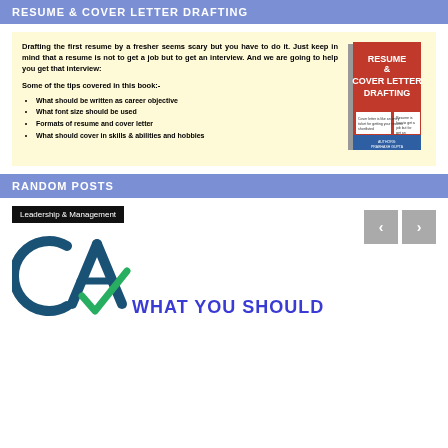RESUME & COVER LETTER DRAFTING
[Figure (illustration): Book promotion image on yellow background showing text about resume drafting tips and a book cover for 'Resume & Cover Letter Drafting']
RANDOM POSTS
[Figure (illustration): Post preview showing Leadership & Management badge, CA logo, and 'WHAT YOU SHOULD' text with navigation arrows]